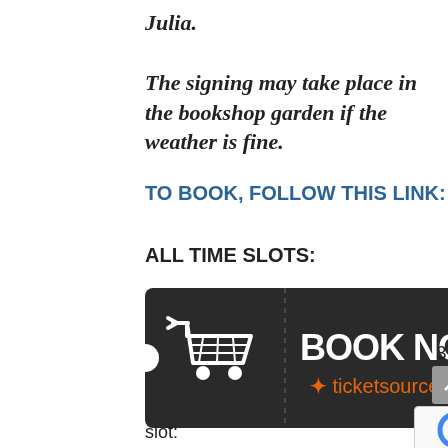Julia.
The signing may take place in the bookshop garden if the weather is fine.
TO BOOK, FOLLOW THIS LINK:
ALL TIME SLOTS:
[Figure (screenshot): A dark ticket-shaped booking widget with a shopping cart icon on the left and 'BOOK NOW' text in white bold letters, with 'ticketsource' logo in orange below it, on a dark/black background.]
3.3
0
p
slot: